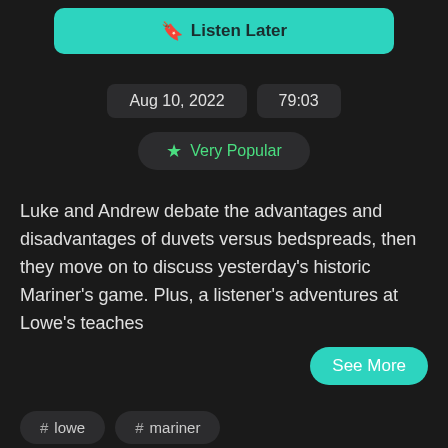[Figure (screenshot): Listen Later button in teal/cyan color with bookmark icon]
Aug 10, 2022   79:03
★ Very Popular
Luke and Andrew debate the advantages and disadvantages of duvets versus bedspreads, then they move on to discuss yesterday's historic Mariner's game. Plus, a listener's adventures at Lowe's teaches
See More
# lowe
# mariner
NBC's Rebecca Lowe on the Premier League, Breaking Into TV, and Talking Soccer With